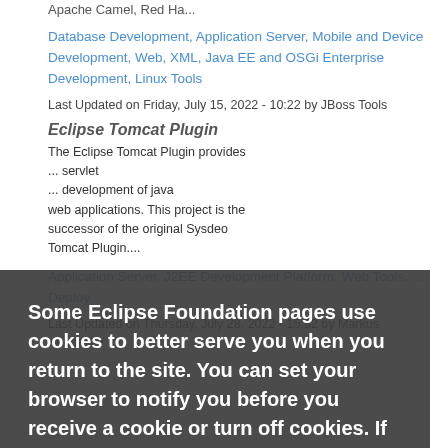Apache Camel, Red Ha...
Database Development, Application Server, Mobile and Device Development, Web, XML, Java EE and OSGi Enterprise Development, Linux Tools
Last Updated on Friday, July 15, 2022 - 10:22 by JBoss Tools
Eclipse Tomcat Plugin
The Eclipse Tomcat Plugin provides ... servlet ... development of java web applications. This project is the successor of the original Sysdeo Tomcat Plugin....
Application Server, J2EE Development Platform, Web Tools, ... Deploy
Last Updated on Thursday, July 28, 2022 - 15:32 by Markus Keunecke
Some Eclipse Foundation pages use cookies to better serve you when you return to the site. You can set your browser to notify you before you receive a cookie or turn off cookies. If you do so, however, some areas of some sites may not function properly. To read Eclipse Foundation Privacy Policy click here.
Decline
Allow cookies